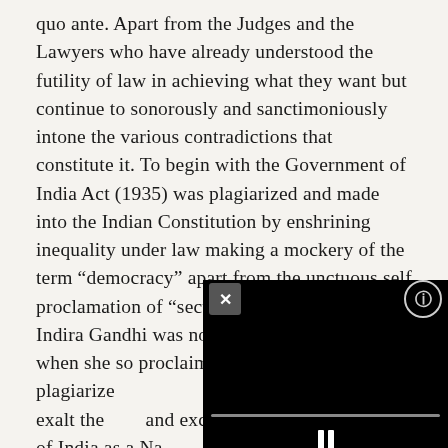quo ante. Apart from the Judges and the Lawyers who have already understood the futility of law in achieving what they want but continue to sonorously and sanctimoniously intone the various contradictions that constitute it. To begin with the Government of India Act (1935) was plagiarized and made into the Indian Constitution by enshrining inequality under law making a mockery of the term "democracy" apart from the unctuous self proclamation of "secularism" (presumably, Indira Gandhi was not under Holy Orders when she so proclaimed). Further, the plagiarized... fabricated to exalt the... and exceptions to the... notion of India as a Na... the leit motif of India. Untruth, conveniently re...
[Figure (other): Video player overlay in bottom-right corner, showing a black video area with a close (X) button and settings button in the top bar, a progress/scrub bar, and a pause button at the bottom center.]